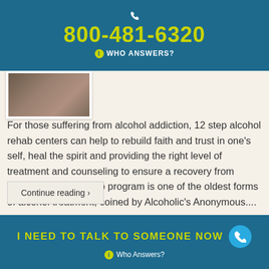800-481-6320 WHO ANSWERS?
[Figure (photo): Partial thumbnail image showing hands on a surface, partially cropped at top of content area]
For those suffering from alcohol addiction, 12 step alcohol rehab centers can help to rebuild faith and trust in one’s self, heal the spirit and providing the right level of treatment and counseling to ensure a recovery from addiction. The 12-step program is one of the oldest forms of alcohol treatment, coined by Alcoholic’s Anonymous....
Continue reading ›
I NEED TO TALK TO SOMEONE NOW Who Answers?